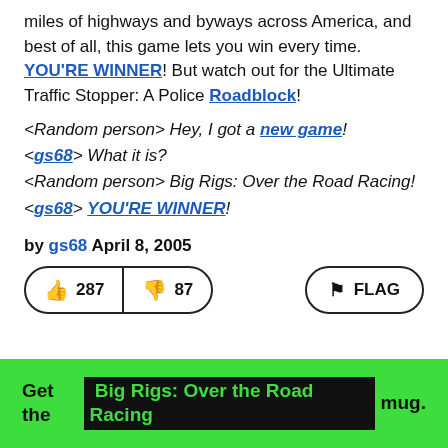miles of highways and byways across America, and best of all, this game lets you win every time. YOU'RE WINNER! But watch out for the Ultimate Traffic Stopper: A Police Roadblock!
<Random person> Hey, I got a new game!
<gs68> What it is?
<Random person> Big Rigs: Over the Road Racing!
<gs68> YOU'RE WINNER!
by gs68 April 8, 2005
[Figure (other): Voting buttons: thumbs up 287, thumbs down 87, and FLAG button]
Get the Big Rigs: Over the Road Racing mug.